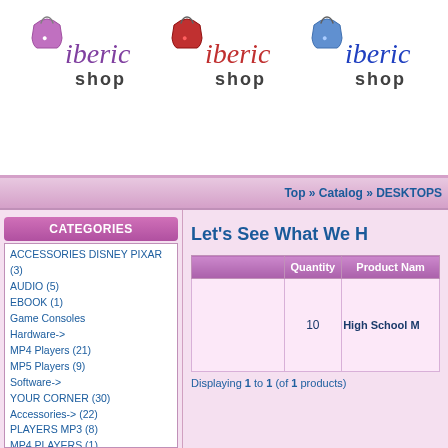[Figure (logo): Iberic Shop logo repeated three times in purple, red, and blue color schemes with shopping bag icons]
Top » Catalog » DESKTOPS
CATEGORIES
ACCESSORIES DISNEY PIXAR (3)
AUDIO (5)
EBOOK (1)
Game Consoles
Hardware->
MP4 Players (21)
MP5 Players (9)
Software->
YOUR CORNER (30)
Accessories-> (22)
PLAYERS MP3 (8)
MP4 PLAYERS (1)
MP5 PLAYERS (1)
DESKTOPS (1)
EBOOK (1)
Laptop Cases
MOUSSE-ACCESORIES (1)
TV - MULTIMEDIA
TFT (1)
DIGITAL PHOTO FRAMES
MULTIFUNCTION PRINTER (3)
DVD RW (1)
Let's See What We H
|  | Quantity | Product Name |
| --- | --- | --- |
|  | 10 | High School M |
Displaying 1 to 1 (of 1 products)